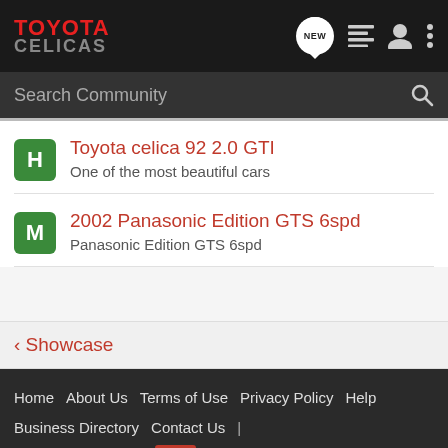TOYOTA CELICAS
Search Community
Toyota celica 92 2.0 GTI — One of the most beautiful cars
2002 Panasonic Edition GTS 6spd — Panasonic Edition GTS 6spd
< Showcase
Home  About Us  Terms of Use  Privacy Policy  Help  Business Directory  Contact Us  |  Grow Your Business  NEW  RSS  VerticalScope Inc., 111 Peter Street, Suite 600, Toronto,